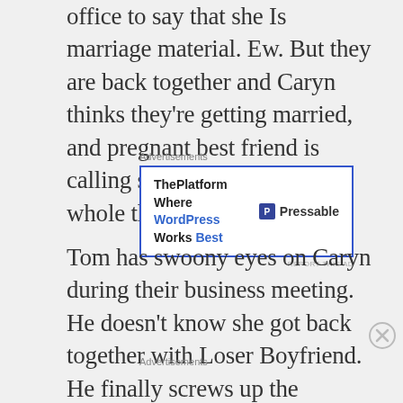office to say that she Is marriage material. Ew. But they are back together and Caryn thinks they're getting married, and pregnant best friend is calling shenanigans on this whole thing.
[Figure (screenshot): Advertisement banner for Pressable WordPress hosting. Text: 'ThePlatform Where WordPress Works Best' with Pressable logo on the right.]
Tom has swoony eyes on Caryn during their business meeting. He doesn't know she got back together with Loser Boyfriend. He finally screws up the courage to ask her out, and she
Advertisements